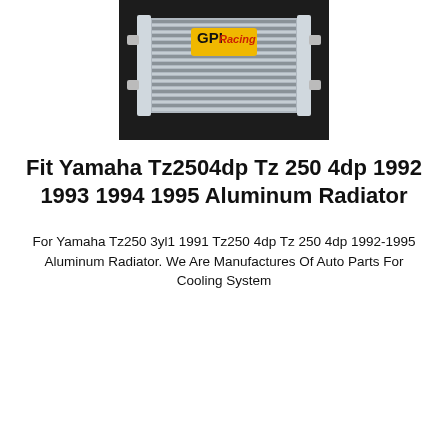[Figure (photo): Photo of a GPI Racing aluminum radiator against a dark background, showing the radiator core with fins and side tanks, with a GPI Racing logo sticker visible.]
Fit Yamaha Tz2504dp Tz 250 4dp 1992 1993 1994 1995 Aluminum Radiator
For Yamaha Tz250 3yl1 1991 Tz250 4dp Tz 250 4dp 1992-1995 Aluminum Radiator. We Are Manufactures Of Auto Parts For Cooling System